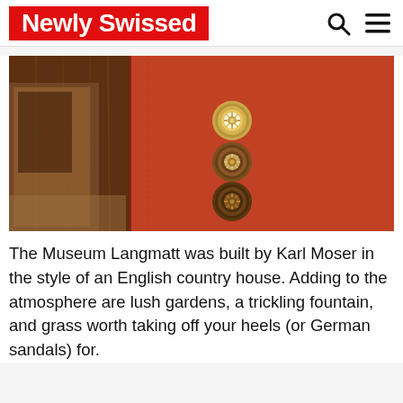Newly Swissed
[Figure (photo): Close-up photo of a red fabric-covered elevator interior panel with three ornate circular bronze/gold call buttons mounted vertically, with wooden paneling visible on the left side and a hallway in the background.]
The Museum Langmatt was built by Karl Moser in the style of an English country house. Adding to the atmosphere are lush gardens, a trickling fountain, and grass worth taking off your heels (or German sandals) for.